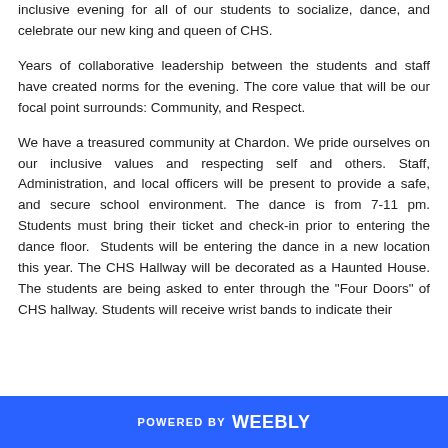inclusive evening for all of our students to socialize, dance, and celebrate our new king and queen of CHS.
Years of collaborative leadership between the students and staff have created norms for the evening. The core value that will be our focal point surrounds: Community, and Respect.
We have a treasured community at Chardon. We pride ourselves on our inclusive values and respecting self and others. Staff, Administration, and local officers will be present to provide a safe, and secure school environment. The dance is from 7-11 pm. Students must bring their ticket and check-in prior to entering the dance floor. Students will be entering the dance in a new location this year. The CHS Hallway will be decorated as a Haunted House. The students are being asked to enter through the "Four Doors" of CHS hallway. Students will receive wrist bands to indicate their...
POWERED BY Weebly